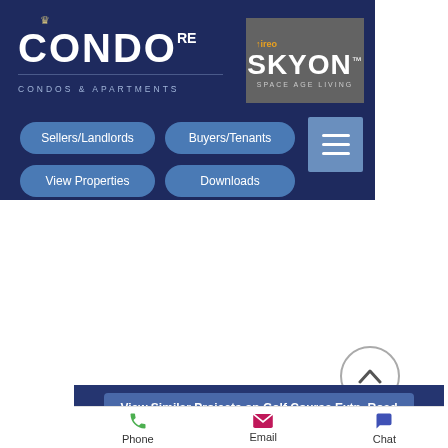[Figure (screenshot): CondoRE website header navigation bar with dark navy background, CondoRE logo on left, ireo SKYON Space Age Living logo on right]
Sellers/Landlords
Buyers/Tenants
View Properties
Downloads
View Similar Projects on Golf Course Extn. Road
Phone
Email
Chat